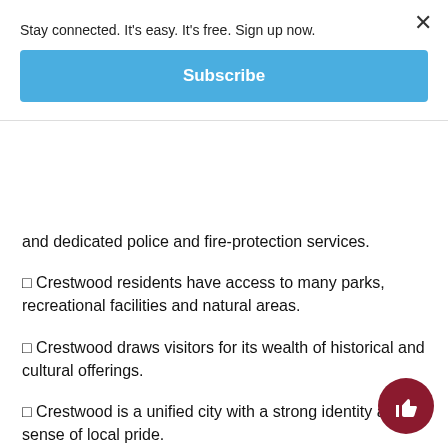Stay connected. It's easy. It's free. Sign up now.
Subscribe
and dedicated police and fire-protection services.
❑ Crestwood residents have access to many parks, recreational facilities and natural areas.
❑ Crestwood draws visitors for its wealth of historical and cultural offerings.
❑ Crestwood is a unified city with a strong identity and a sense of local pride.
After Lavigne presented the draft of the comprehensive plan to the commission, members discussed the document at regular meetings and during an October work session to make revisions.